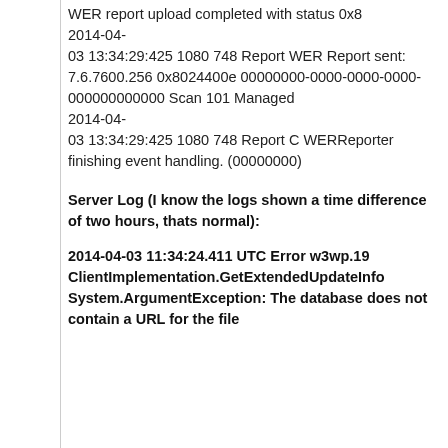WER report upload completed with status 0x8
2014-04-03 13:34:29:425 1080 748 Report WER Report sent: 7.6.7600.256 0x8024400e 00000000-0000-0000-0000-000000000000 Scan 101 Managed
2014-04-03 13:34:29:425 1080 748 Report C WERReporter finishing event handling. (00000000)
Server Log (I know the logs shown a time difference of two hours, thats normal):
2014-04-03 11:34:24.411 UTC Error w3wp.19 ClientImplementation.GetExtendedUpdateInfo System.ArgumentException: The database does not contain a URL for the file